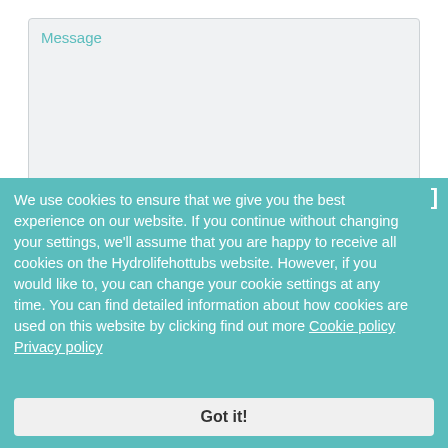[Figure (screenshot): Message textarea input field with light gray background and teal 'Message' placeholder label]
I accept the privacy policy.
[Figure (screenshot): reCAPTCHA widget with checkbox and 'I'm not a robot' text and reCAPTCHA logo]
We use cookies to ensure that we give you the best experience on our website. If you continue without changing your settings, we'll assume that you are happy to receive all cookies on the Hydrolifehottubs website. However, if you would like to, you can change your cookie settings at any time. You can find detailed information about how cookies are used on this website by clicking find out more Cookie policy  Privacy policy
Got it!